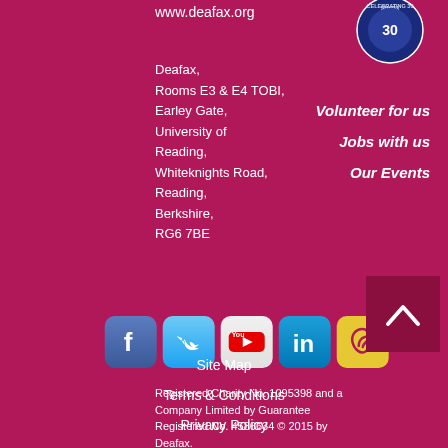www.deafax.org
[Figure (logo): Deafax 30 years anniversary circular logo badge]
Deafax,
Rooms E3 & E4 TOBI,
Earley Gate,
University of Reading,
Whiteknights Road,
Reading,
Berkshire,
RG6 7BE
Volunteer for us
Jobs with us
Our Events
[Figure (illustration): Row of 5 social media icons: Facebook, Twitter, YouTube, LinkedIn, SignSolutions]
Registered Charity No. 1095398 and a Company Limited by Guarantee Registered No. 4586634 © 2015 by Deafax.
Site Map
Terms & Conditions
Privacy Policy